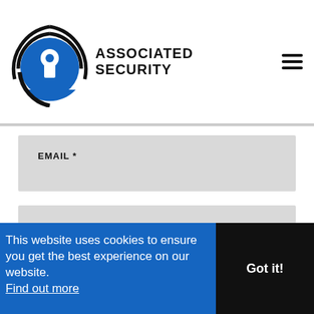[Figure (logo): Associated Security logo with keyhole icon in blue circle with black rings]
EMAIL *
PHONE NUMBER
HOW DID YOU DISCOVER ASSOCIATED SECURITY?*
This website uses cookies to ensure you get the best experience on our website. Find out more
Got it!